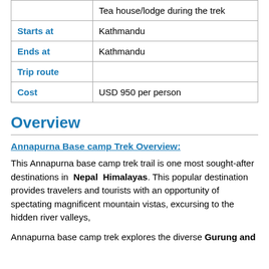|  | Tea house/lodge during the trek |
| Starts at | Kathmandu |
| Ends at | Kathmandu |
| Trip route |  |
| Cost | USD 950 per person |
Overview
Annapurna Base camp Trek Overview:
This Annapurna base camp trek trail is one most sought-after destinations in Nepal Himalayas. This popular destination provides travelers and tourists with an opportunity of spectating magnificent mountain vistas, excursing to the hidden river valleys,
Annapurna base camp trek explores the diverse Gurung and